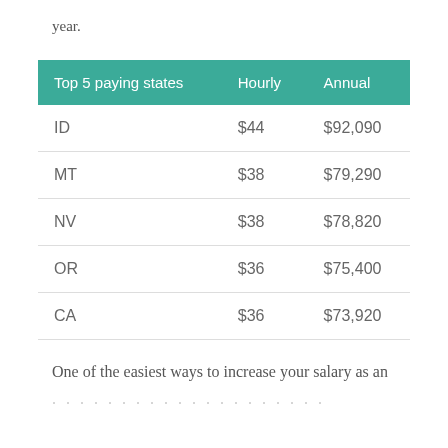year.
| Top 5 paying states | Hourly | Annual |
| --- | --- | --- |
| ID | $44 | $92,090 |
| MT | $38 | $79,290 |
| NV | $38 | $78,820 |
| OR | $36 | $75,400 |
| CA | $36 | $73,920 |
One of the easiest ways to increase your salary as an